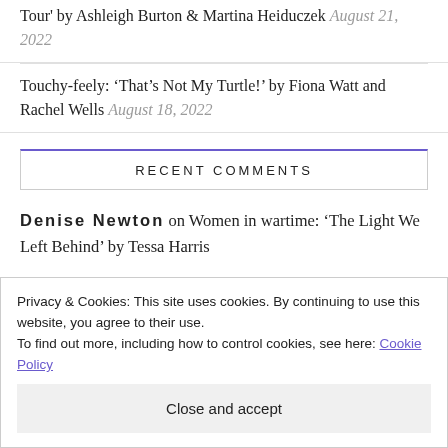Tour' by Ashleigh Burton & Martina Heiduczek August 21, 2022
Touchy-feely: 'That's Not My Turtle!' by Fiona Watt and Rachel Wells August 18, 2022
RECENT COMMENTS
Denise Newton on Women in wartime: 'The Light We Left Behind' by Tessa Harris
Privacy & Cookies: This site uses cookies. By continuing to use this website, you agree to their use.
To find out more, including how to control cookies, see here: Cookie Policy
Close and accept